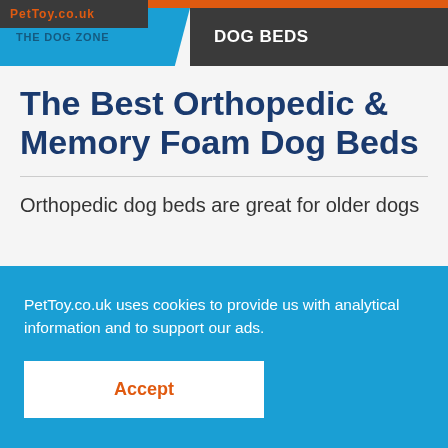THE DOG ZONE | DOG BEDS
The Best Orthopedic & Memory Foam Dog Beds
Orthopedic dog beds are great for older dogs
PetToy.co.uk uses cookies to provide us with analytical information and to support our ads.
Accept